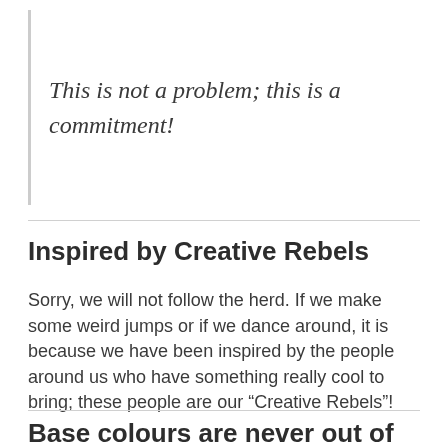This is not a problem; this is a commitment!
Inspired by Creative Rebels
Sorry, we will not follow the herd. If we make some weird jumps or if we dance around, it is because we have been inspired by the people around us who have something really cool to bring; these people are our “Creative Rebels”!
Base colours are never out of fashion